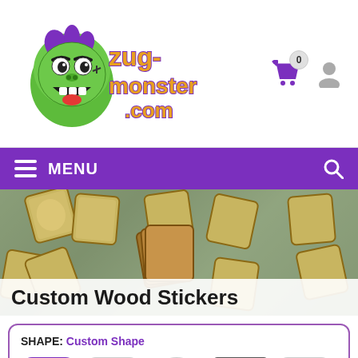[Figure (logo): ZugMonster.com logo with green monster character and orange/yellow lettering]
[Figure (infographic): Shopping cart icon with badge showing 0 items and user profile icon]
MENU
[Figure (photo): Banner photo showing multiple custom wood stickers with monster face design scattered on a wooden surface]
Custom Wood Stickers
SHAPE: Custom Shape
[Figure (infographic): Five shape option buttons: Custom Shape (active/selected), rounded square, oval, square, and rounded rectangle, each with a purple monster silhouette icon]